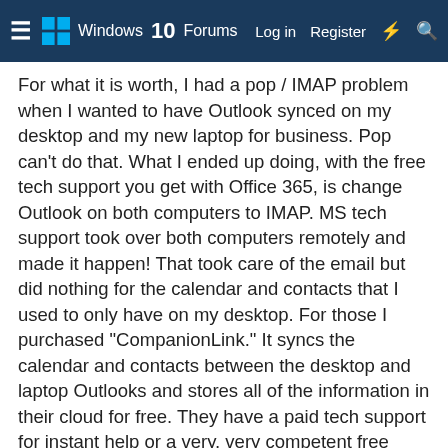Windows 10 Forums | Log in | Register
For what it is worth, I had a pop / IMAP problem when I wanted to have Outlook synced on my desktop and my new laptop for business. Pop can't do that. What I ended up doing, with the free tech support you get with Office 365, is change Outlook on both computers to IMAP. MS tech support took over both computers remotely and made it happen! That took care of the email but did nothing for the calendar and contacts that I used to only have on my desktop. For those I purchased "CompanionLink." It syncs the calendar and contacts between the desktop and laptop Outlooks and stores all of the information in their cloud for free. They have a paid tech support for instant help or a very, very competent free support for the life of the program that takes a day or so via email or conversation. I've used the program since it was first offered and have never felt I was lacking anything with the free support. CompanionLink also syncs the calendar and contacts to your phone Android or Apple. (Outlook for Android is a whole other world so I haven't been able to get that to work on my phone yet.) I even found a